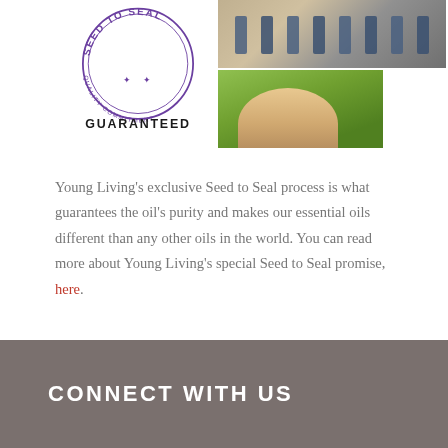[Figure (logo): Seed to Seal Quality Commitment Guaranteed circular stamp logo in purple and black]
[Figure (photo): Collage of photos showing essential oil bottles in trays and a hand holding seeds over green grass]
Young Living's exclusive Seed to Seal process is what guarantees the oil's purity and makes our essential oils different than any other oils in the world. You can read more about Young Living's special Seed to Seal promise, here.
CONNECT WITH US